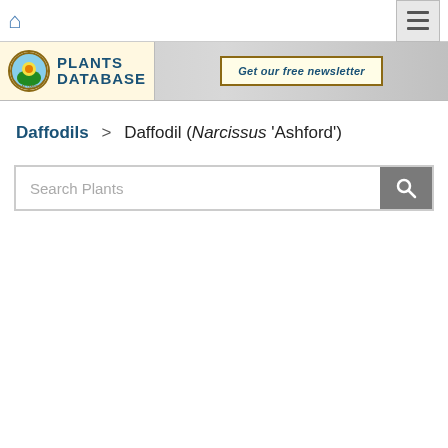National Gardening Association Plants Database
[Figure (logo): National Gardening Association Plants Database logo with circular emblem and text]
Get our free newsletter
Daffodils > Daffodil (Narcissus 'Ashford')
Search Plants